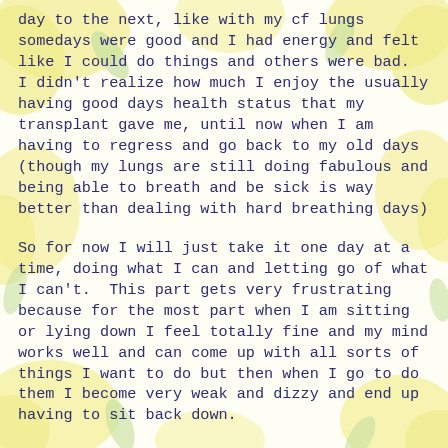day to the next, like with my cf lungs somedays were good and I had energy and felt like I could do things and others were bad.  I didn't realize how much I enjoy the usually having good days health status that my transplant gave me, until now when I am having to regress and go back to my old days (though my lungs are still doing fabulous and being able to breath and be sick is way better than dealing with hard breathing days)
So for now I will just take it one day at a time, doing what I can and letting go of what I can't.  This part gets very frustrating because for the most part when I am sitting or lying down I feel totally fine and my mind works well and can come up with all sorts of things I want to do but then when I go to do them I become very weak and dizzy and end up having to sit back down.